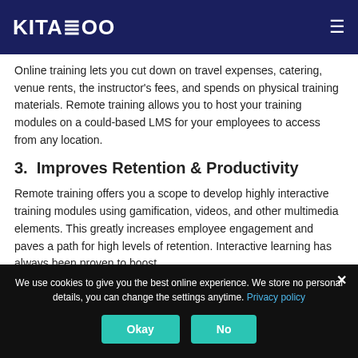KITABOO
Online training lets you cut down on travel expenses, catering, venue rents, the instructor's fees, and spends on physical training materials. Remote training allows you to host your training modules on a could-based LMS for your employees to access from any location.
3. Improves Retention & Productivity
Remote training offers you a scope to develop highly interactive training modules using gamification, videos, and other multimedia elements. This greatly increases employee engagement and paves a path for high levels of retention. Interactive learning has always been proven to boost
We use cookies to give you the best online experience. We store no personal details, you can change the settings anytime. Privacy policy
Okay
No